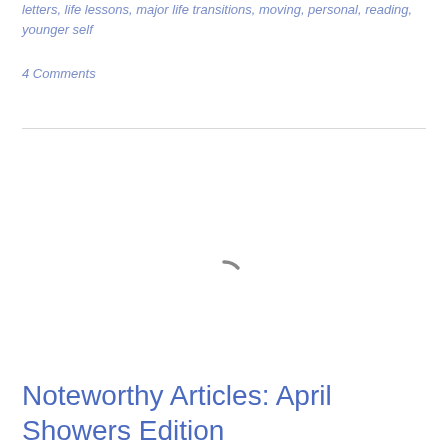letters, life lessons, major life transitions, moving, personal, reading, younger self
4 Comments
[Figure (other): Loading spinner (partial arc) indicating content is loading]
Noteworthy Articles: April Showers Edition